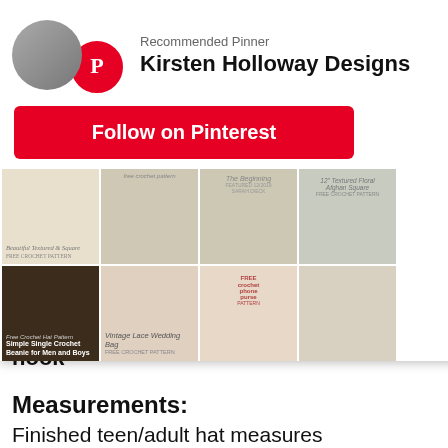[Figure (screenshot): Pinterest recommended pinner popup overlay showing Kirsten Holloway Designs with Follow on Pinterest button and a grid of crochet project images]
X CLOSE
Band: 10 hdc stitches in 2  with 4mm hook
Measurements:
Finished teen/adult hat measures
approximately 10 1/2” tall by 11” wide, but can be made taller, or shorter depending on your